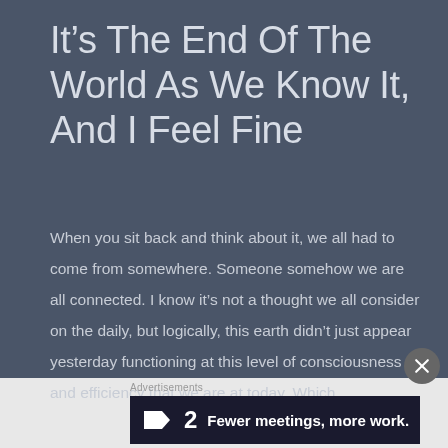It’s The End Of The World As We Know It, And I Feel Fine
When you sit back and think about it, we all had to come from somewhere. Someone somehow we are all connected. I know it’s not a thought we all consider on the daily, but logically, this earth didn’t just appear yesterday functioning at this level of consciousness and efficiency that we are at today. Which ....
Advertisements
[Figure (logo): Planhat advertisement banner with logo and text: Fewer meetings, more work.]